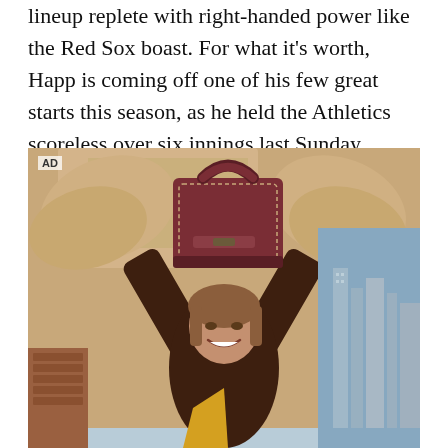lineup replete with right-handed power like the Red Sox boast. For what it's worth, Happ is coming off one of his few great starts this season, as he held the Athletics scoreless over six innings last Sunday.
[Figure (photo): Advertisement photo of a woman in a dark brown outfit holding a burgundy leather handbag above her head, standing in front of a stone sculpture with a city skyline visible in the background. AD label in the top-left corner.]